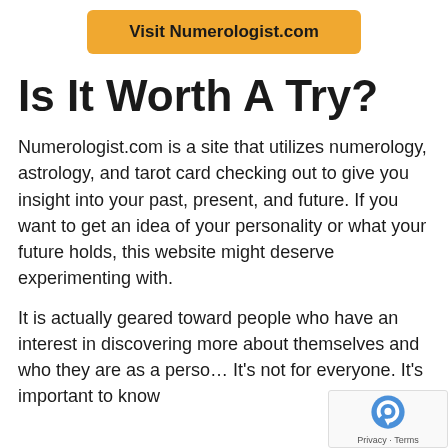[Figure (other): Yellow button with text 'Visit Numerologist.com']
Is It Worth A Try?
Numerologist.com is a site that utilizes numerology, astrology, and tarot card checking out to give you insight into your past, present, and future. If you want to get an idea of your personality or what your future holds, this website might deserve experimenting with.
It is actually geared toward people who have an interest in discovering more about themselves and who they are as a perso… It's not for everyone. It's important to know